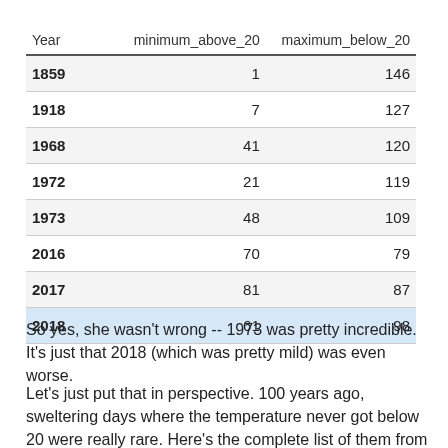| Year | minimum_above_20 | maximum_below_20 |
| --- | --- | --- |
| 1859 | 1 | 146 |
| 1918 | 7 | 127 |
| 1968 | 41 | 120 |
| 1972 | 21 | 119 |
| 1973 | 48 | 109 |
| 2016 | 70 | 79 |
| 2017 | 81 | 87 |
| 2018 | 61 | 98 |
So yes, she wasn't wrong -- 1973 was pretty incredible. It's just that 2018 (which was pretty mild) was even worse.
Let's just put that in perspective. 100 years ago, sweltering days where the temperature never got below 20 were really rare. Here's the complete list of them from 1918.